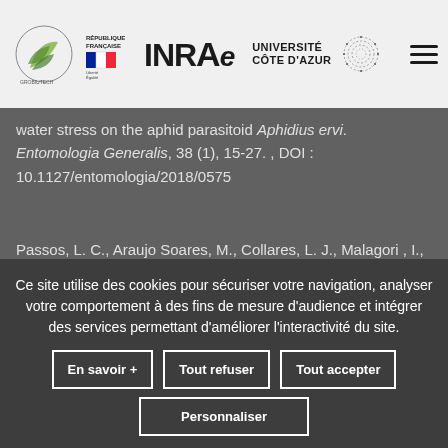INRAE / Université Côte d'Azur — website header with logos and navigation
water stress on the aphid parasitoid Aphidius ervi. Entomologia Generalis, 38 (1), 15-27. , DOI : 10.1127/entomologia/2018/0575
Passos, L. C., Araujo Soares, M., Collares, L. J., Malagori , I., Desneux, N., Carvalho, G. A. (2018). Lethal, sublethal and transgenerational effects of insecticides on Macrolophus
Ce site utilise des cookies pour sécuriser votre navigation, analyser votre comportement à des fins de mesure d'audience et intégrer des services permettant d'améliorer l'interactivité du site.
En savoir +
Tout refuser
Tout accepter
Personnaliser